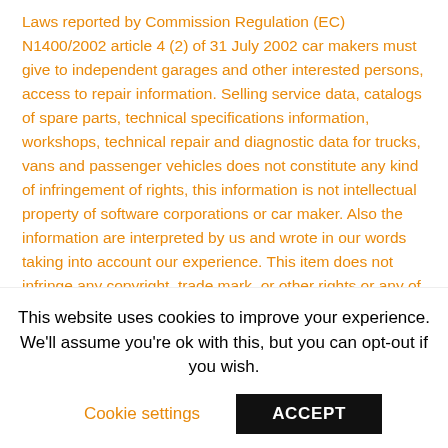Laws reported by Commission Regulation (EC) N1400/2002 article 4 (2) of 31 July 2002 car makers must give to independent garages and other interested persons, access to repair information. Selling service data, catalogs of spare parts, technical specifications information, workshops, technical repair and diagnostic data for trucks, vans and passenger vehicles does not constitute any kind of infringement of rights, this information is not intellectual property of software corporations or car maker. Also the information are interpreted by us and wrote in our words taking into account our experience. This item does not infringe any copyright, trade mark, or other rights or any of eBay's listing policies. We or our Agents/suppliers hold all copyright and/or ID rights for these products, we therefore have full and legal
This website uses cookies to improve your experience. We'll assume you're ok with this, but you can opt-out if you wish.
Cookie settings
ACCEPT